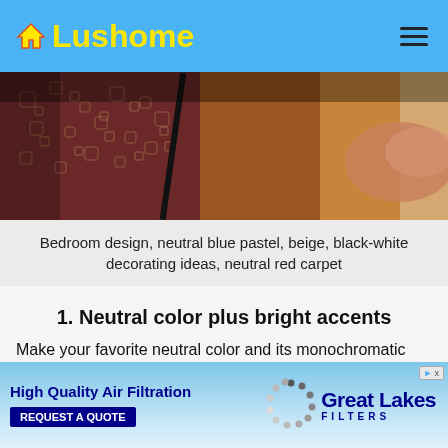Lushome
[Figure (photo): Close-up of a colorful patterned carpet/rug with red, yellow and dark tones, with what appears to be a dark rod or brush and a hand visible]
Bedroom design, neutral blue pastel, beige, black-white decorating ideas, neutral red carpet
1. Neutral color plus bright accents
Make your favorite neutral color and its monochromatic hues the primary colors for your room designs. Brighten up the rooms with an accent color and its monochromatic hues.  Creating contrasts
gs life into the modern interior design and
[Figure (infographic): Advertisement banner for Great Lakes Filters - High Quality Air Filtration with Request a Quote button and circular dot logo]